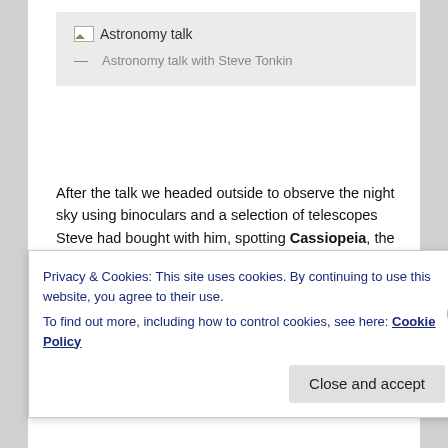[Figure (other): Gray banner block showing a broken image icon and the title 'Astronomy talk']
— Astronomy talk with Steve Tonkin
After the talk we headed outside to observe the night sky using binoculars and a selection of telescopes Steve had bought with him, spotting Cassiopeia, the Seven Sisters and the Andromeda galaxy. Whilst outside Talia set up her camera and took some fantastic photos of the sky.
On the Sunday, we met James from the CET for another fun farm feed session, assisting with some of the feeding
Privacy & Cookies: This site uses cookies. By continuing to use this website, you agree to their use.
To find out more, including how to control cookies, see here: Cookie Policy